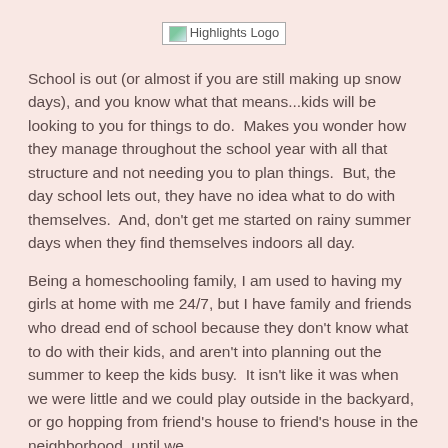[Figure (logo): Highlights Logo image placeholder]
School is out (or almost if you are still making up snow days), and you know what that means...kids will be looking to you for things to do.  Makes you wonder how they manage throughout the school year with all that structure and not needing you to plan things.  But, the day school lets out, they have no idea what to do with themselves.  And, don't get me started on rainy summer days when they find themselves indoors all day.
Being a homeschooling family, I am used to having my girls at home with me 24/7, but I have family and friends who dread end of school because they don't know what to do with their kids, and aren't into planning out the summer to keep the kids busy.  It isn't like it was when we were little and we could play outside in the backyard, or go hopping from friend's house to friend's house in the neighborhood, until we